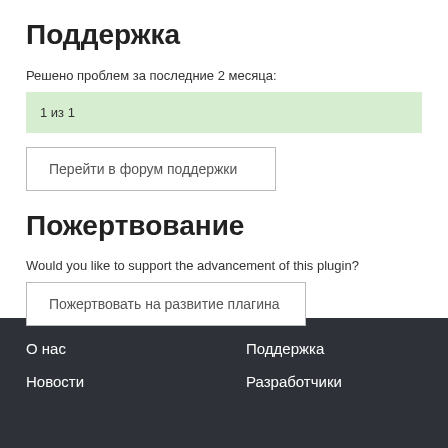Поддержка
Решено проблем за последние 2 месяца:
1 из 1
Перейти в форум поддержки
Пожертвование
Would you like to support the advancement of this plugin?
Пожертвовать на развитие плагина
О нас   Поддержка   Новости   Разработчики